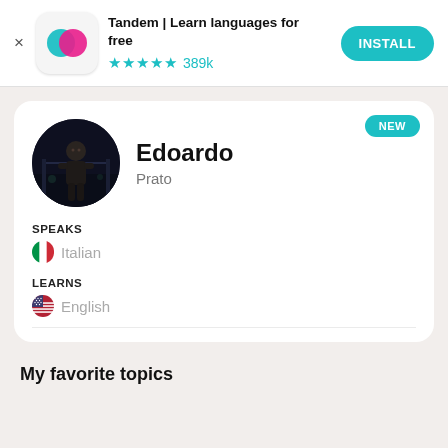[Figure (screenshot): App advertisement banner for Tandem | Learn languages for free with app icon, star rating of 4.5 stars with 389k reviews, and INSTALL button]
Tandem | Learn languages for free
★★★★½ 389k
[Figure (photo): Circular profile photo of Edoardo, a young man in dark clothing standing outdoors at night]
NEW
Edoardo
Prato
SPEAKS
Italian
LEARNS
English
My favorite topics